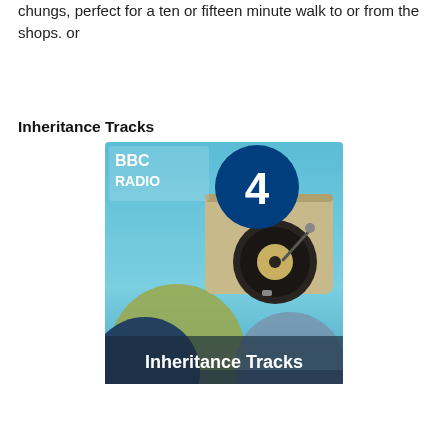chungs, perfect for a ten or fifteen minute walk to or from the shops. or
Inheritance Tracks
[Figure (photo): BBC Radio 4 Inheritance Tracks podcast cover image showing a vintage portable record player (turntable in a suitcase) on a light blue background, with colorful overlapping circles (olive green, dark navy, slate blue) in the lower portion, the BBC Radio 4 logo in the upper left, and the text 'Inheritance Tracks' in white at the bottom.]